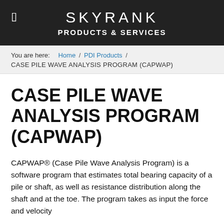SKYRANK PRODUCTS & SERVICES
You are here: Home / PDI Products / CASE PILE WAVE ANALYSIS PROGRAM (CAPWAP)
CASE PILE WAVE ANALYSIS PROGRAM (CAPWAP)
CAPWAP® (Case Pile Wave Analysis Program) is a software program that estimates total bearing capacity of a pile or shaft, as well as resistance distribution along the shaft and at the toe. The program takes as input the force and velocity